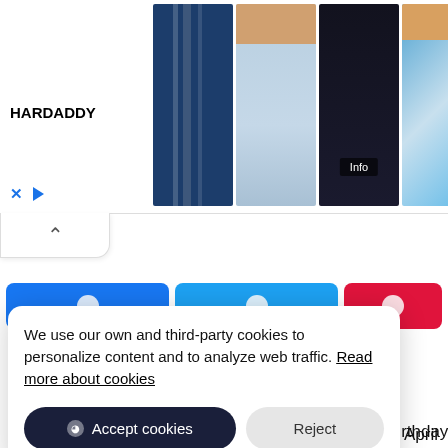[Figure (screenshot): Advertisement banner for HARDADDY showing multiple men's shirts (striped navy, light blue, dark graphic, floral blue, holiday red). An 'Info' badge overlays the third shirt. Controls show X and play button.]
[Figure (screenshot): Collapse/scroll up button with caret icon below the ad banner.]
[Figure (screenshot): Social share buttons row: Facebook (blue), Twitter (light blue), and Reddit/other (red) buttons partially visible.]
We use our own and third-party cookies to personalize content and to analyze web traffic. Read more about cookies
Accept cookies   Reject
April 7, 1941 or share your experience celebrating your birthday